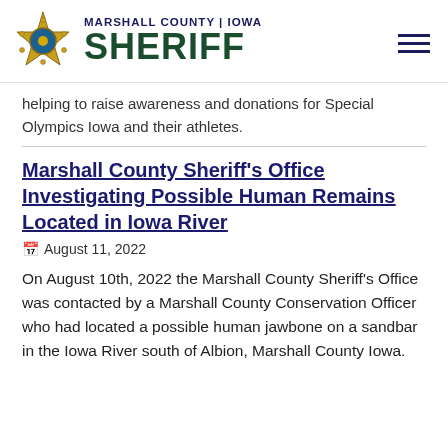MARSHALL COUNTY | IOWA SHERIFF
helping to raise awareness and donations for Special Olympics Iowa and their athletes.
Marshall County Sheriff’s Office Investigating Possible Human Remains Located in Iowa River
August 11, 2022
On August 10th, 2022 the Marshall County Sheriff’s Office was contacted by a Marshall County Conservation Officer who had located a possible human jawbone on a sandbar in the Iowa River south of Albion, Marshall County Iowa.